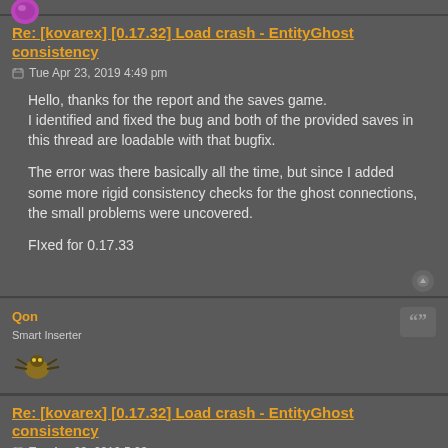[Figure (illustration): Purple circular avatar icon at top left]
Re: [kovarex] [0.17.32] Load crash - EntityGhost consistency
Tue Apr 23, 2019 4:49 pm
Hello, thanks for the report and the saves game.
I identified and fixed the bug and both of the provided saves in this thread are loadable with that bugfix.

The error was there basically all the time, but since I added some more rigid consistency checks for the ghost connections, the small problems were uncovered.

FIxed for 0.17.33
Qon
Smart Inserter
[Figure (illustration): Qon user avatar - bug/insect game character sprite]
Re: [kovarex] [0.17.32] Load crash - EntityGhost consistency
Tue Apr 23, 2019 5:23 pm